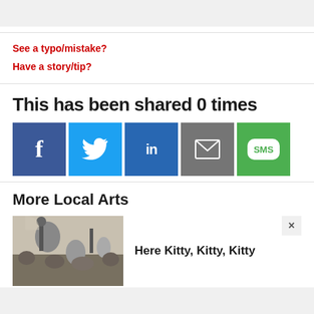See a typo/mistake?
Have a story/tip?
This has been shared 0 times
[Figure (infographic): Social sharing buttons: Facebook (blue), Twitter (light blue), LinkedIn (dark blue), Email (gray), SMS (green)]
More Local Arts
[Figure (photo): Concert crowd scene with performer on stage]
Here Kitty, Kitty, Kitty